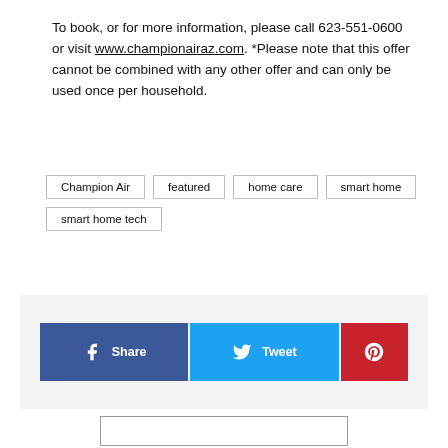To book, or for more information, please call 623-551-0600 or visit www.championairaz.com. *Please note that this offer cannot be combined with any other offer and can only be used once per household.
Champion Air
featured
home care
smart home
smart home tech
[Figure (other): Social share buttons: Facebook Share, Twitter Tweet, Pinterest]